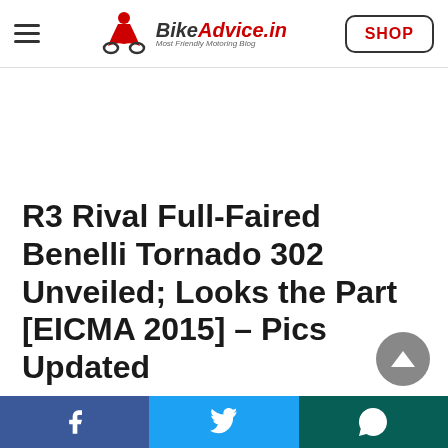BikeAdvice.in — Most Friendly Motoring Blog | SHOP
R3 Rival Full-Faired Benelli Tornado 302 Unveiled; Looks the Part [EICMA 2015] – Pics Updated